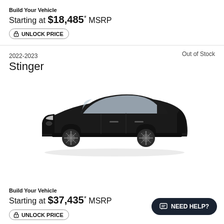Build Your Vehicle
Starting at $18,485* MSRP
UNLOCK PRICE
Out of Stock
2022-2023
Stinger
[Figure (photo): 2022-2023 Kia Stinger black sedan, three-quarter front view on white background]
Build Your Vehicle
Starting at $37,435* MSRP
UNLOCK PRICE
NEED HELP?